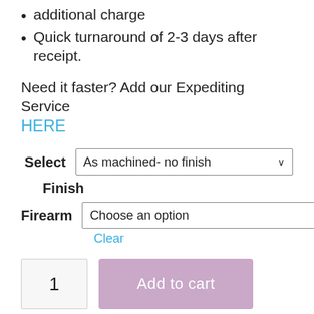additional charge
Quick turnaround of 2-3 days after receipt.
Need it faster? Add our Expediting Service HERE
Select Finish: As machined- no finish
Firearm: Choose an option
Clear
1  Add to cart